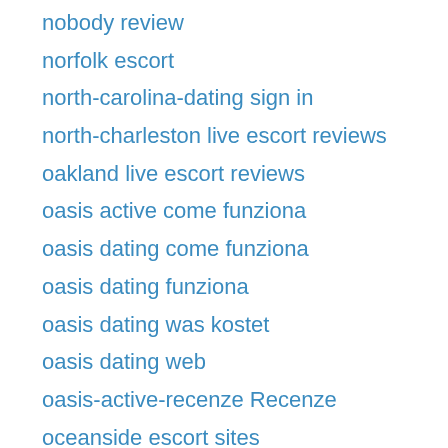nobody review
norfolk escort
north-carolina-dating sign in
north-charleston live escort reviews
oakland live escort reviews
oasis active come funziona
oasis dating come funziona
oasis dating funziona
oasis dating was kostet
oasis dating web
oasis-active-recenze Recenze
oceanside escort sites
odessa live escort reviews
oh sugar daddy website
oblala inscription